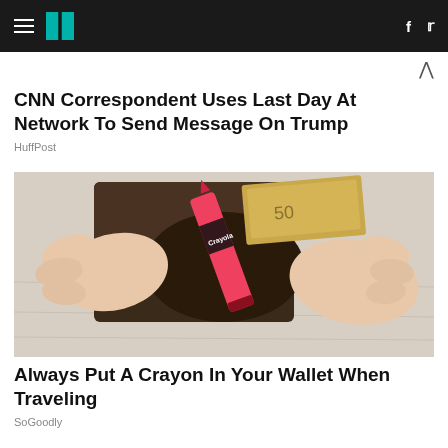HuffPost navigation bar with hamburger menu, logo, facebook and twitter icons
CNN Correspondent Uses Last Day At Network To Send Message On Trump
HuffPost
[Figure (photo): Hands holding open a brown leather wallet with a red Crayola crayon inside and euro banknotes, on a white wooden surface]
Always Put A Crayon In Your Wallet When Traveling
SoGoodly